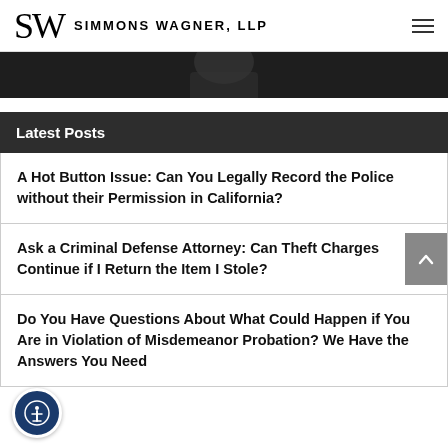SW SIMMONS WAGNER, LLP
[Figure (photo): Dark hero image with a person in the background]
Latest Posts
A Hot Button Issue: Can You Legally Record the Police without their Permission in California?
Ask a Criminal Defense Attorney: Can Theft Charges Continue if I Return the Item I Stole?
Do You Have Questions About What Could Happen if You Are in Violation of Misdemeanor Probation? We Have the Answers You Need